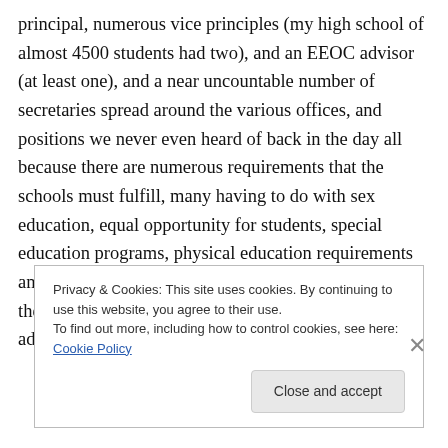principal, numerous vice principles (my high school of almost 4500 students had two), and an EEOC advisor (at least one), and a near uncountable number of secretaries spread around the various offices, and positions we never even heard of back in the day all because there are numerous requirements that the schools must fulfill, many having to do with sex education, equal opportunity for students, special education programs, physical education requirements and more and more federally imposed programs which the schools must document that every last one of these additional educational requirements are
Privacy & Cookies: This site uses cookies. By continuing to use this website, you agree to their use.
To find out more, including how to control cookies, see here: Cookie Policy